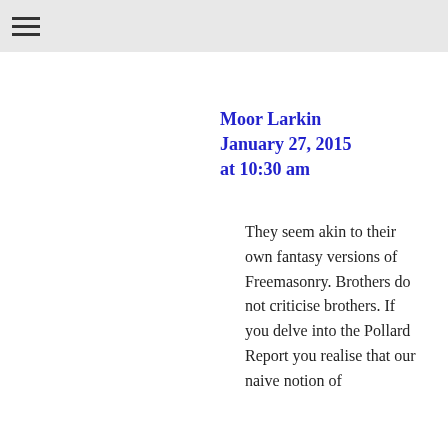≡
Reply
Moor Larkin
January 27, 2015
at 10:30 am
They seem akin to their own fantasy versions of Freemasonry. Brothers do not criticise brothers. If you delve into the Pollard Report you realise that our naive notion of